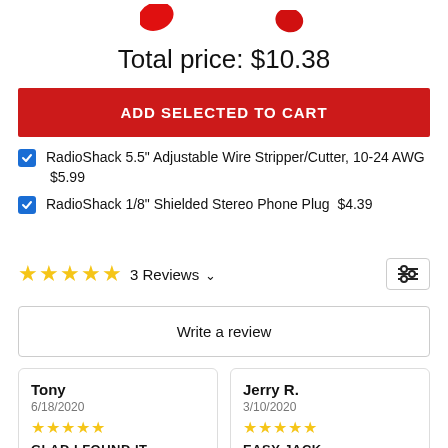[Figure (photo): Two red product images (earbuds/connectors) partially visible at the top of the page]
Total price: $10.38
ADD SELECTED TO CART
RadioShack 5.5" Adjustable Wire Stripper/Cutter, 10-24 AWG  $5.99
RadioShack 1/8" Shielded Stereo Phone Plug  $4.39
3 Reviews
Write a review
Tony
6/18/2020
GLAD I FOUND IT
Jerry R.
3/10/2020
Easy jack